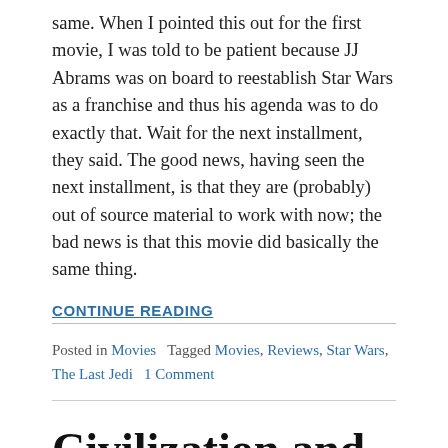same. When I pointed this out for the first movie, I was told to be patient because JJ Abrams was on board to reestablish Star Wars as a franchise and thus his agenda was to do exactly that. Wait for the next installment, they said. The good news, having seen the next installment, is that they are (probably) out of source material to work with now; the bad news is that this movie did basically the same thing.
CONTINUE READING
Posted in Movies   Tagged Movies, Reviews, Star Wars, The Last Jedi   1 Comment
Civilization and its